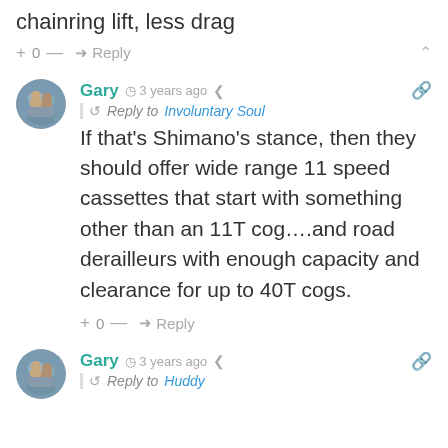chainring lift, less drag
+ 0 — ➜ Reply
[Figure (photo): Circular avatar photo of user Gary]
Gary  🕐 3 years ago  < Share  🔗
Reply to Involuntary Soul
If that's Shimano's stance, then they should offer wide range 11 speed cassettes that start with something other than an 11T cog….and road derailleurs with enough capacity and clearance for up to 40T cogs.
+ 0 — ➜ Reply
[Figure (photo): Circular avatar photo of user Gary]
Gary  🕐 3 years ago  < Share  🔗
Reply to Huddy